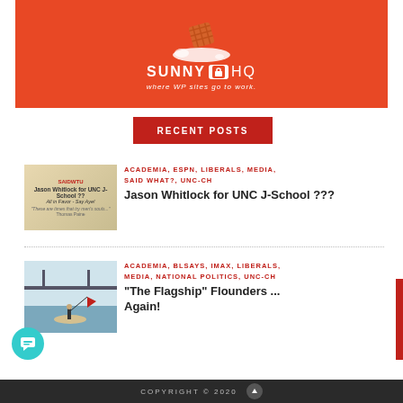[Figure (illustration): SunnyHQ advertisement banner with orange/red background, waffle ice cream cone, and white logo text: SUNNY HQ — where WP sites go to work.]
RECENT POSTS
[Figure (photo): Thumbnail image for Jason Whitlock for UNC J-School post — tan background with text overlay]
ACADEMIA, ESPN, LIBERALS, MEDIA, SAID WHAT?, UNC-CH
Jason Whitlock for UNC J-School ???
[Figure (photo): Thumbnail image for The Flagship Flounders post — person on boat near bridge]
ACADEMIA, BLSAYS, IMAX, LIBERALS, MEDIA, NATIONAL POLITICS, UNC-CH
“The Flagship” Flounders ... Again!
COPYRIGHT © 2020